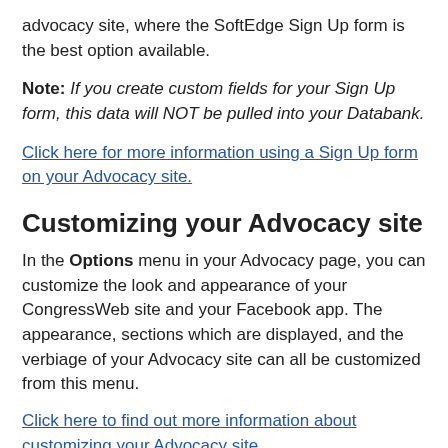advocacy site, where the SoftEdge Sign Up form is the best option available.
Note: If you create custom fields for your Sign Up form, this data will NOT be pulled into your Databank.
Click here for more information using a Sign Up form on your Advocacy site.
Customizing your Advocacy site
In the Options menu in your Advocacy page, you can customize the look and appearance of your CongressWeb site and your Facebook app. The appearance, sections which are displayed, and the verbiage of your Advocacy site can all be customized from this menu.
Click here to find out more information about customizing your Advocacy site.